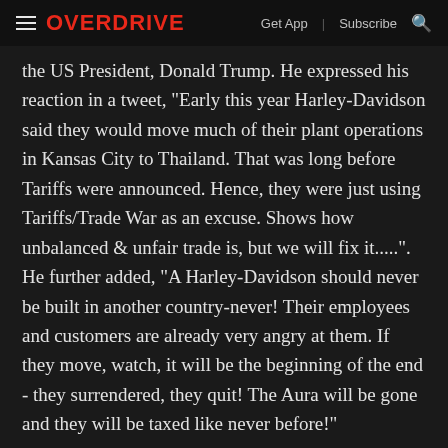OVERDRIVE | Get App | Subscribe
the US President, Donald Trump. He expressed his reaction in a tweet, "Early this year Harley-Davidson said they would move much of their plant operations in Kansas City to Thailand. That was long before Tariffs were announced. Hence, they were just using Tariffs/Trade War as an excuse. Shows how unbalanced & unfair trade is, but we will fix it.....". He further added, "A Harley-Davidson should never be built in another country-never! Their employees and customers are already very angry at them. If they move, watch, it will be the beginning of the end - they surrendered, they quit! The Aura will be gone and they will be taxed like never before!"
Tags: